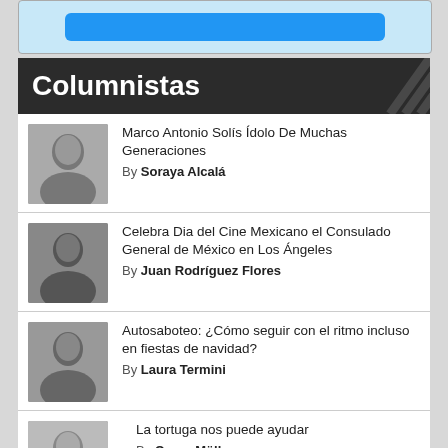[Figure (other): Top banner with blue button]
Columnistas
Marco Antonio Solís Ídolo De Muchas Generaciones — By Soraya Alcalá
Celebra Dia del Cine Mexicano el Consulado General de México en Los Ángeles — By Juan Rodríguez Flores
Autosaboteo: ¿Cómo seguir con el ritmo incluso en fiestas de navidad? — By Laura Termini
La tortuga nos puede ayudar — By Oscar Müller Creel